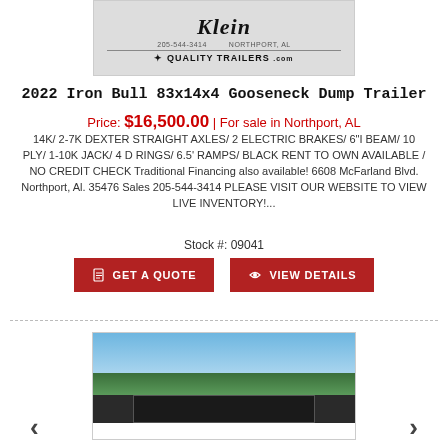[Figure (photo): Klein Quality Trailers logo/dealer image at top of listing]
2022 Iron Bull 83x14x4 Gooseneck Dump Trailer
Price: $16,500.00 | For sale in Northport, AL
14K/ 2-7K DEXTER STRAIGHT AXLES/ 2 ELECTRIC BRAKES/ 6"I BEAM/ 10 PLY/ 1-10K JACK/ 4 D RINGS/ 6.5' RAMPS/ BLACK RENT TO OWN AVAILABLE / NO CREDIT CHECK Traditional Financing also available! 6608 McFarland Blvd. Northport, Al. 35476 Sales 205-544-3414 PLEASE VISIT OUR WEBSITE TO VIEW LIVE INVENTORY!...
Stock #: 09041
GET A QUOTE  VIEW DETAILS
[Figure (photo): Photo of the 2022 Iron Bull Gooseneck Dump Trailer, black trailer in outdoor setting with trees and blue sky in background]